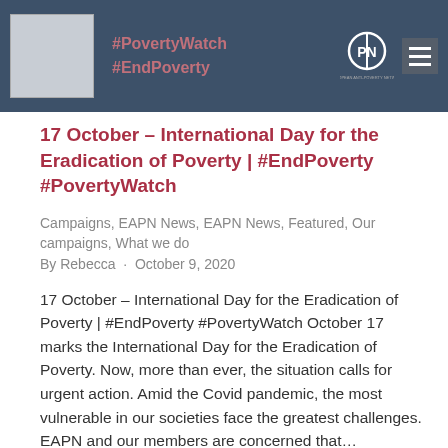[Figure (screenshot): Website header banner with dark blue-grey background, a grey placeholder image on the left, hashtags #PovertyWatch and #EndPoverty in the center, and the EAPN (European Anti-Poverty Network) logo on the right with a hamburger menu icon]
17 October – International Day for the Eradication of Poverty | #EndPoverty #PovertyWatch
Campaigns, EAPN News, EAPN News, Featured, Our campaigns, What we do
By Rebecca · October 9, 2020
17 October – International Day for the Eradication of Poverty | #EndPoverty #PovertyWatch October 17 marks the International Day for the Eradication of Poverty. Now, more than ever, the situation calls for urgent action. Amid the Covid pandemic, the most vulnerable in our societies face the greatest challenges. EAPN and our members are concerned that…